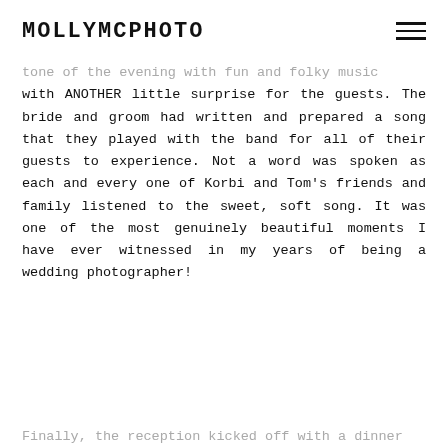MOLLYMCPHOTO
tone of the evening with fun and folky music with ANOTHER little surprise for the guests. The bride and groom had written and prepared a song that they played with the band for all of their guests to experience. Not a word was spoken as each and every one of Korbi and Tom's friends and family listened to the sweet, soft song. It was one of the most genuinely beautiful moments I have ever witnessed in my years of being a wedding photographer!
Finally, the reception kicked off with a dinner